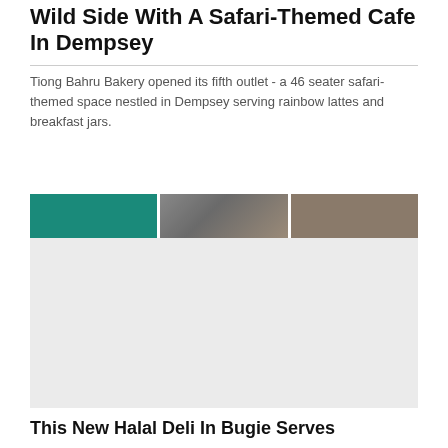Wild Side With A Safari-Themed Cafe In Dempsey
Tiong Bahru Bakery opened its fifth outlet - a 46 seater safari-themed space nestled in Dempsey serving rainbow lattes and breakfast jars.
[Figure (photo): Three photo panels side by side: teal/green solid panel, a photo with dark grey/blue tones showing a partial animal or texture, and a muted brown/grey toned photo panel]
[Figure (photo): Light grey placeholder image area for cafe interior or food photo]
This New Halal Deli In Bugie Serves...